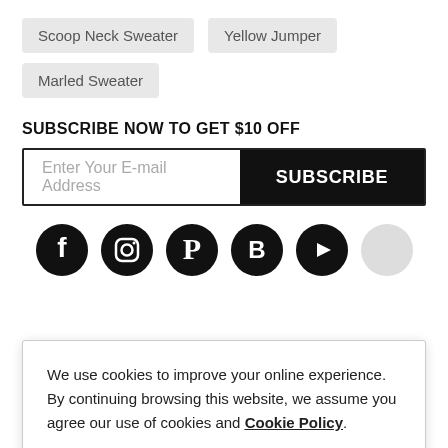Scoop Neck Sweater
Yellow Jumper
Marled Sweater
SUBSCRIBE NOW TO GET $10 OFF
Enter Your E-mail Address  SUBSCRIBE
[Figure (illustration): Row of 6 social media icon circles (Facebook, Instagram, Pinterest, Blogger, YouTube, and one more) in black]
We use cookies to improve your online experience. By continuing browsing this website, we assume you agree our use of cookies and Cookie Policy.
Agree